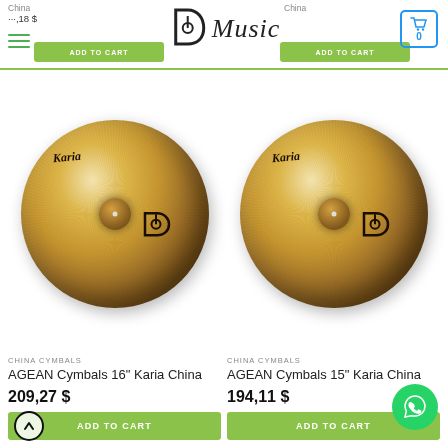AD Music - Header with logo and cart
[Figure (photo): Bronze cymbal - AGEAN Cymbals 16" Karia China, circular gold/bronze colored cymbal with Karia branding]
CHINA CYMBALS
AGEAN Cymbals 16" Karia China
209,27 $
ADD TO CART
[Figure (photo): Bronze cymbal - AGEAN Cymbals 15" Karia China, circular gold/bronze colored cymbal with Karia branding]
CHINA CYMBALS
AGEAN Cymbals 15" Karia China
194,11 $
ADD TO CART